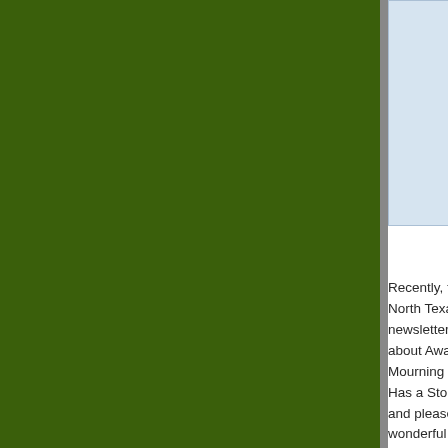[Figure (other): Green background panel filling left portion of page]
[Figure (other): Light blue card/box in upper right area]
Recently, the University of North Texas online alumni newsletter published an article about Awaken to Good Mourning and Every Stone Has a Story. I was honored and pleased with the wonderful job they did. You are invited to read the article entitled Good Mourning and then share the link with friends and family.
Speaking Update
I recently spent a couple of days in Mountain View, CA hosted by the Cusimano Family Colonial Mortu... two sessions ~ one...